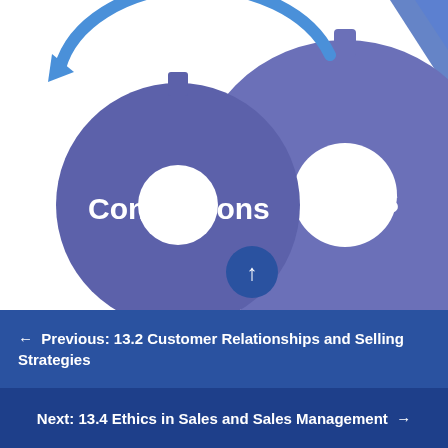[Figure (infographic): Illustration of three interlocking gear wheels in purple/blue-purple color on white background. The left gear is labeled 'Conversions' in white bold text, the right large gear is labeled 'Sales' in white bold text. A blue curved arrow wraps around the top of the left gear indicating rotation. A small blue circle with an upward arrow appears at the bottom center. A blue/purple triangle shape appears at top right corner.]
← Previous: 13.2 Customer Relationships and Selling Strategies
Next: 13.4 Ethics in Sales and Sales Management →